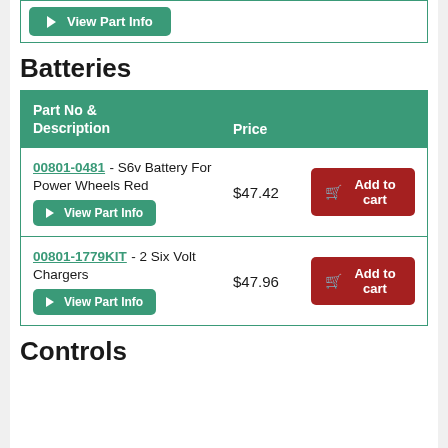View Part Info (top button)
Batteries
| Part No & Description | Price |  |
| --- | --- | --- |
| 00801-0481 - S6v Battery For Power Wheels Red | $47.42 | Add to cart |
| 00801-1779KIT - 2 Six Volt Chargers | $47.96 | Add to cart |
Controls